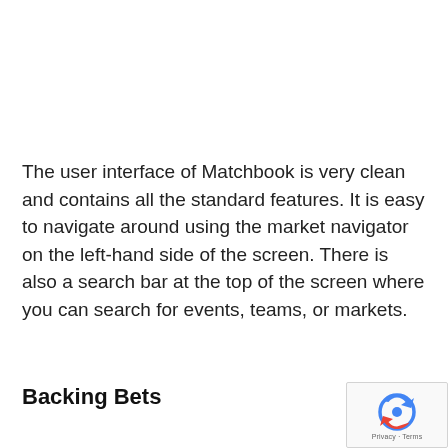The user interface of Matchbook is very clean and contains all the standard features. It is easy to navigate around using the market navigator on the left-hand side of the screen. There is also a search bar at the top of the screen where you can search for events, teams, or markets.
Backing Bets
[Figure (logo): reCAPTCHA badge with blue/red arrow logo and Privacy - Terms text]